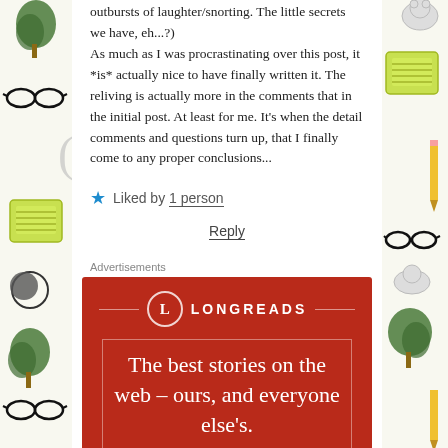outbursts of laughter/snorting. The little secrets we have, eh...?) As much as I was procrastinating over this post, it *is* actually nice to have finally written it. The reliving is actually more in the comments that in the initial post. At least for me. It's when the detail comments and questions turn up, that I finally come to any proper conclusions...
★ Liked by 1 person
Reply
Advertisements
[Figure (infographic): Longreads advertisement banner on red background with circular L logo and tagline: The best stories on the web – ours, and everyone else's.]